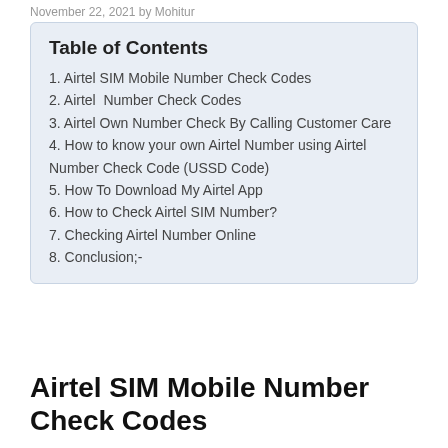November 22, 2021 by Mohitur
Table of Contents
1. Airtel SIM Mobile Number Check Codes
2. Airtel  Number Check Codes
3. Airtel Own Number Check By Calling Customer Care
4. How to know your own Airtel Number using Airtel Number Check Code (USSD Code)
5. How To Download My Airtel App
6. How to Check Airtel SIM Number?
7. Checking Airtel Number Online
8. Conclusion;-
Airtel SIM Mobile Number Check Codes